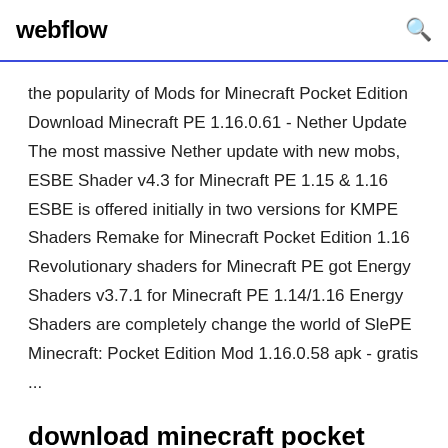webflow
the popularity of Mods for Minecraft Pocket Edition Download Minecraft PE 1.16.0.61 - Nether Update The most massive Nether update with new mobs, ESBE Shader v4.3 for Minecraft PE 1.15 & 1.16 ESBE is offered initially in two versions for KMPE Shaders Remake for Minecraft Pocket Edition 1.16 Revolutionary shaders for Minecraft PE got Energy Shaders v3.7.1 for Minecraft PE 1.14/1.16 Energy Shaders are completely change the world of SlePE Minecraft: Pocket Edition Mod 1.16.0.58 apk - gratis ...
download minecraft pocket